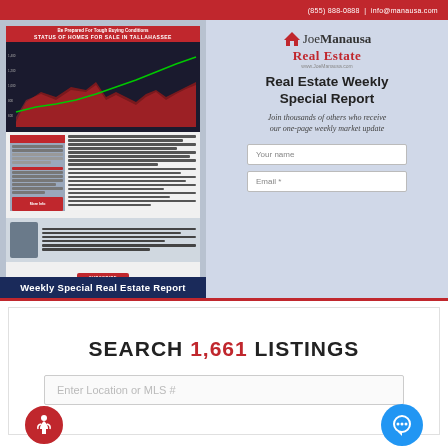(850) 888-0888 | info@manausa.com
[Figure (screenshot): Newsletter preview showing 'Be Prepared For Tough Buying Conditions' with a chart of Status of Homes for Sale in Tallahassee showing area chart data over time]
[Figure (screenshot): Joe Manausa Real Estate signup panel with Real Estate Weekly Special Report headline, join thousands tagline, and name/email form fields]
Weekly Special Real Estate Report
SEARCH 1,661 LISTINGS
Enter Location or MLS #